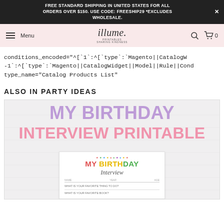FREE STANDARD SHIPPING IN UNITED STATES FOR ALL ORDERS OVER $150. USE CODE: FREESHIP29 *EXCLUDES WHOLESALE. ×
Menu | illume | 🔍 🛒 0
conditions_encoded="^[`1`:^[`type`:`Magento||CatalogW -1`:^[`type`:`Magento||CatalogWidget||Model||Rule||Cond type_name="Catalog Products List"
ALSO IN PARTY IDEAS
[Figure (illustration): My Birthday Interview printable product promotional image with large purple text 'MY BIRTHDAY' and pink text 'INTERVIEW PRINTABLE' overlaid on a grey background, with a sample card showing the birthday interview form below.]